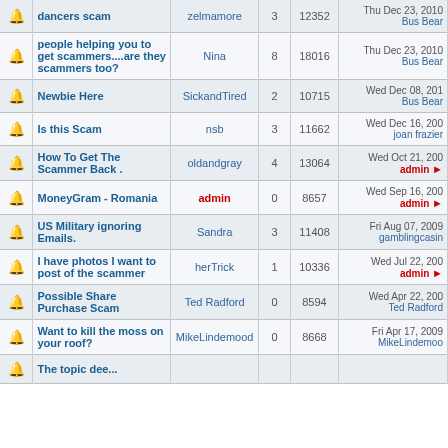|  | Topic | Author | Replies | Views | Last Post |
| --- | --- | --- | --- | --- | --- |
| [icon] | dancers scam | zelmamore | 3 | 12352 | Thu Dec 23, 2010 Bus Bear |
| [icon] | people helping you to get scammers....are they scammers too? | Nina | 8 | 18016 | Thu Dec 23, 2010 Bus Bear |
| [icon] | Newbie Here | SickandTired | 2 | 10715 | Wed Dec 08, 201 Bus Bear |
| [icon] | Is this Scam | nsb | 3 | 11662 | Wed Dec 16, 200 joan frazier |
| [icon] | How To Get The Scammer Back . | oldandgray | 4 | 13064 | Wed Oct 21, 200 admin → |
| [icon] | MoneyGram - Romania | admin | 0 | 8657 | Wed Sep 16, 200 admin → |
| [icon] | US Military ignoring Emails. | Sandra | 3 | 11408 | Fri Aug 07, 2009 gamblingcasin |
| [icon] | I have photos I want to post of the scammer | herTrick | 1 | 10336 | Wed Jul 22, 200 admin → |
| [icon] | Possible Share Purchase Scam | Ted Radford | 0 | 8594 | Wed Apr 22, 200 Ted Radford |
| [icon] | Want to kill the moss on your roof? | MikeLindemood | 0 | 8668 | Fri Apr 17, 2009 MikeLindemood |
| [icon] | The topic dee... |  |  |  |  |